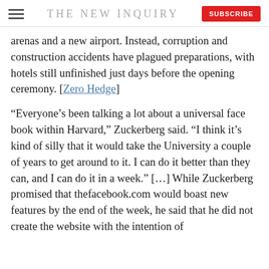THE NEW INQUIRY
arenas and a new airport. Instead, corruption and construction accidents have plagued preparations, with hotels still unfinished just days before the opening ceremony. [Zero Hedge]
“Everyone’s been talking a lot about a universal face book within Harvard,” Zuckerberg said. “I think it’s kind of silly that it would take the University a couple of years to get around to it. I can do it better than they can, and I can do it in a week.” […] While Zuckerberg promised that thefacebook.com would boast new features by the end of the week, he said that he did not create the website with the intention of